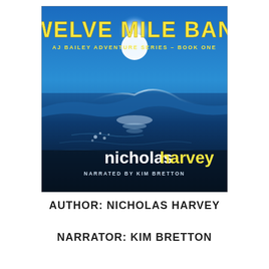[Figure (illustration): Book cover for 'Twelve Mile Bank' by Nicholas Harvey. Shows ocean water with moonlight reflecting on waves, dark blue tones. Title 'TWELVE MILE BANK' in large yellow bold letters at top. Subtitle 'AJ Bailey Adventure Series - Book One' in smaller yellow text. Author name 'nicholasharvey' at bottom with 'nicholas' in white and 'harvey' in yellow. Below that: 'Narrated by Kim Bretton' in small white text.]
AUTHOR: NICHOLAS HARVEY
NARRATOR: KIM BRETTON